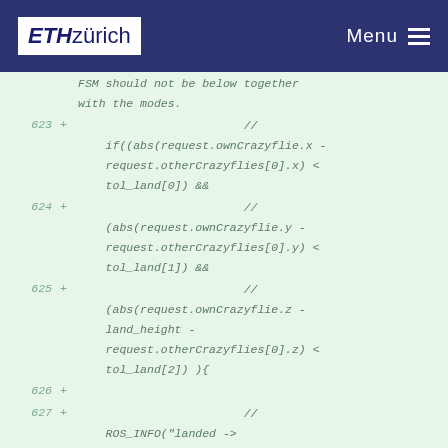ETH zürich   Menu
FSM should not be below together with the modes.
623 +   //
        if((abs(request.ownCrazyflie.x - request.otherCrazyflies[0].x) < tol_land[0]) &&
624 +   //
        (abs(request.ownCrazyflie.y - request.otherCrazyflies[0].y) < tol_land[1]) &&
625 +   //
        (abs(request.ownCrazyflie.z - land_height - request.otherCrazyflies[0].z) < tol_land[2]) ){
626 +
627 +   //
        ROS_INFO("landed -> DRONEX_STATE_ON_MOTHERSHIP");
628 +   //